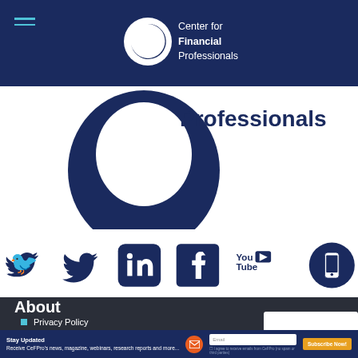[Figure (logo): CeFPro Center for Financial Professionals logo with circular icon and text in navy header bar]
[Figure (logo): Large partial CeFPro logo showing bottom half with 'Professionals' text and stylized quotation mark graphic in dark navy]
[Figure (infographic): Row of social media icons: Twitter (bird), LinkedIn (rounded square), Facebook (square), YouTube, and mobile app (circle) all in dark navy blue]
About
Privacy Policy
[Figure (screenshot): Partial ERROR dialog popup in white box on right side]
Stay Updated
Receive CeFPro's news, magazine, webinars, research reports and more...